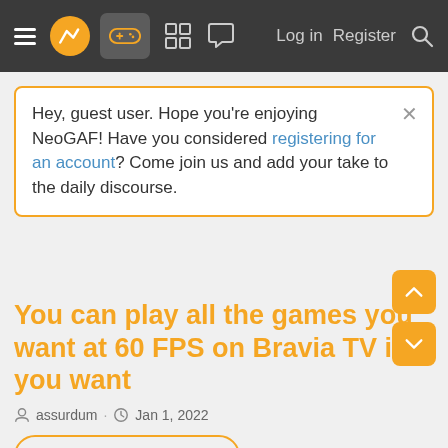NeoGAF navigation bar with logo, gamepad icon, grid icon, chat icon, Log in, Register, Search
Hey, guest user. Hope you're enjoying NeoGAF! Have you considered registering for an account? Come join us and add your take to the daily discourse.
You can play all the games you want at 60 FPS on Bravia TV if you want
assurdum · Jan 1, 2022
< GAMING DISCUSSION
1 of 7   Next ▶   ▶▶